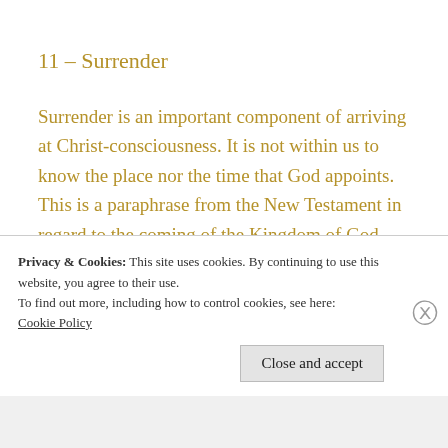11 – Surrender
Surrender is an important component of arriving at Christ-consciousness. It is not within us to know the place nor the time that God appoints. This is a paraphrase from the New Testament in regard to the coming of the Kingdom of God, Heaven on earth. And what will we have in Christ-consciousness but the
Privacy & Cookies: This site uses cookies. By continuing to use this website, you agree to their use.
To find out more, including how to control cookies, see here: Cookie Policy
Close and accept